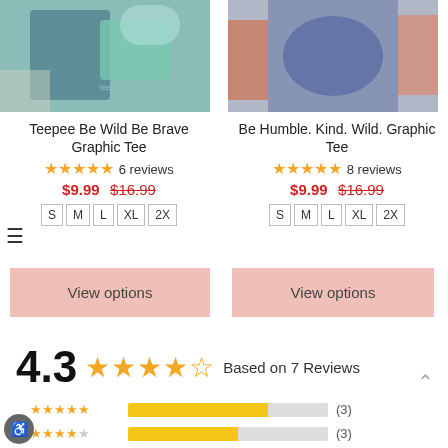[Figure (photo): Product photo of Teepee Be Wild Be Brave Graphic Tee - teal fabric with accessories]
[Figure (photo): Product photo of Be Humble. Kind. Wild. Graphic Tee - person wearing grey graphic tee with floral scarf]
Teepee Be Wild Be Brave Graphic Tee
★★★★★ 6 reviews
$9.99  $16.99
S  M  L  XL  2X
Be Humble. Kind. Wild. Graphic Tee
★★★★★ 8 reviews
$9.99  $16.99
S  M  L  XL  2X
View options
View options
4.3 ★★★★½ Based on 7 Reviews
★★★★★ (3)
★★★★☆ (3)